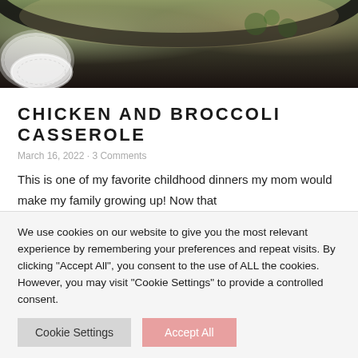[Figure (photo): Partial top view of a chicken and broccoli casserole in a dark cast iron skillet, with melted cheese on top, set on a lace doily.]
CHICKEN AND BROCCOLI CASSEROLE
March 16, 2022 · 3 Comments
This is one of my favorite childhood dinners my mom would make my family growing up!  Now that
Read More
We use cookies on our website to give you the most relevant experience by remembering your preferences and repeat visits. By clicking "Accept All", you consent to the use of ALL the cookies. However, you may visit "Cookie Settings" to provide a controlled consent.